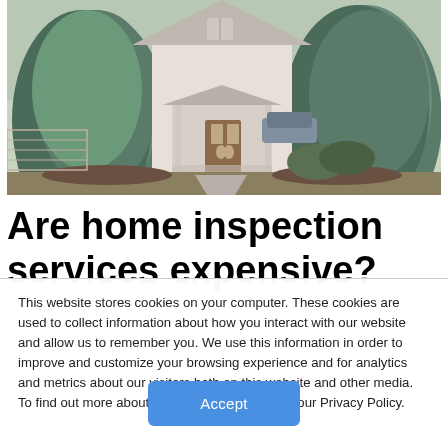[Figure (photo): Exterior photo of a two-story white house with large blue spruce trees in front, steps leading to a covered porch entrance, taken in winter/early spring with dry lawn.]
Are home inspection services expensive?
This website stores cookies on your computer. These cookies are used to collect information about how you interact with our website and allow us to remember you. We use this information in order to improve and customize your browsing experience and for analytics and metrics about our visitors both on this website and other media. To find out more about the cookies we use, see our Privacy Policy.
Accept